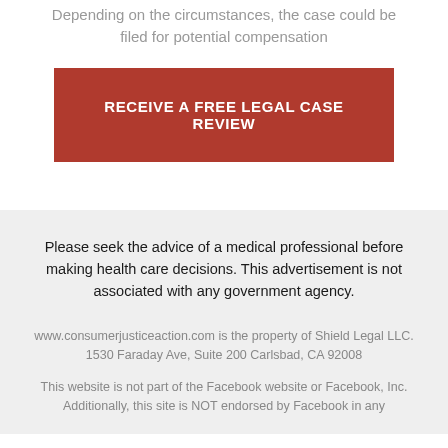Depending on the circumstances, the case could be filed for potential compensation
[Figure (other): Red call-to-action button with text RECEIVE A FREE LEGAL CASE REVIEW]
Please seek the advice of a medical professional before making health care decisions. This advertisement is not associated with any government agency.
www.consumerjusticeaction.com is the property of Shield Legal LLC. 1530 Faraday Ave, Suite 200 Carlsbad, CA 92008
This website is not part of the Facebook website or Facebook, Inc. Additionally, this site is NOT endorsed by Facebook in any